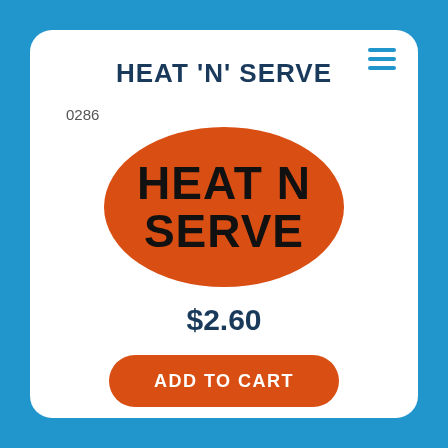HEAT 'N' SERVE
0286
[Figure (illustration): Orange oval label sticker with bold black text reading 'HEAT N SERVE']
$2.60
ADD TO CART